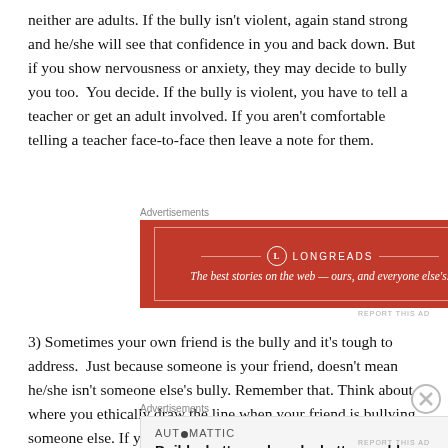neither are adults. If the bully isn't violent, again stand strong and he/she will see that confidence in you and back down. But if you show nervousness or anxiety, they may decide to bully you too.  You decide. If the bully is violent, you have to tell a teacher or get an adult involved. If you aren't comfortable telling a teacher face-to-face then leave a note for them.
[Figure (other): Longreads advertisement: red background with white border, logo and tagline 'The best stories on the web — ours, and everyone else's.']
3) Sometimes your own friend is the bully and it's tough to address.  Just because someone is your friend, doesn't mean he/she isn't someone else's bully. Remember that. Think about where you ethically draw the line when your friend is bullying someone else. If your friend crosses that bully line, you have a responsibility to say
[Figure (other): Automattic advertisement: light grey background, brand name 'AUTOMATTIC' and tagline 'Build a better web and a better world.']